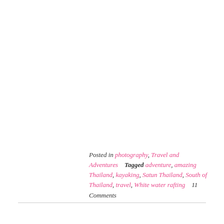Posted in photography, Travel and Adventures   Tagged adventure, amazing Thailand, kayaking, Satun Thailand, South of Thailand, travel, White water rafting   11 Comments